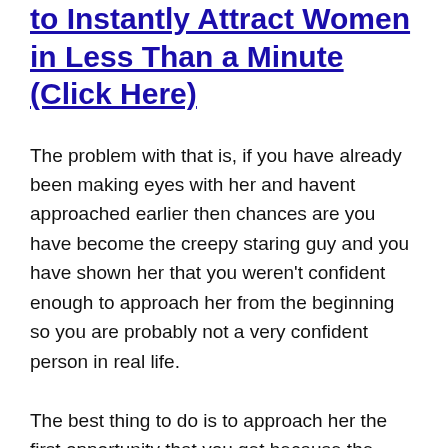to Instantly Attract Women in Less Than a Minute (Click Here)
The problem with that is, if you have already been making eyes with her and havent approached earlier then chances are you have become the creepy staring guy and you have shown her that you weren't confident enough to approach her from the beginning so you are probably not a very confident person in real life.
The best thing to do is to approach her the first opportunity that you get because the longer you leave it, the harder and more awkward it will get. If